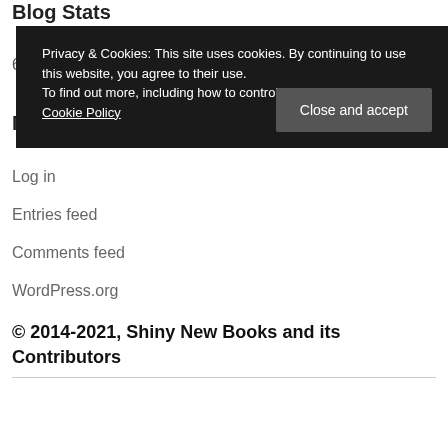Blog Stats
6...
M...
Privacy & Cookies: This site uses cookies. By continuing to use this website, you agree to their use. To find out more, including how to control cookies, see here: Cookie Policy
Log in
Entries feed
Comments feed
WordPress.org
© 2014-2021, Shiny New Books and its Contributors